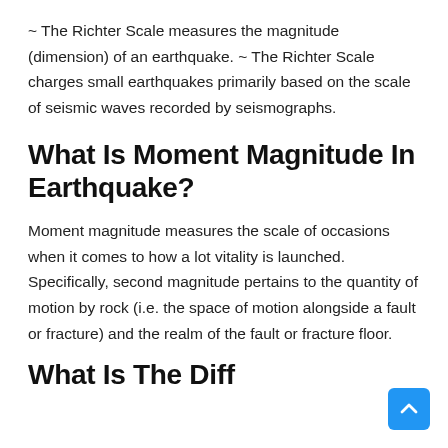~ The Richter Scale measures the magnitude (dimension) of an earthquake. ~ The Richter Scale charges small earthquakes primarily based on the scale of seismic waves recorded by seismographs.
What Is Moment Magnitude In Earthquake?
Moment magnitude measures the scale of occasions when it comes to how a lot vitality is launched. Specifically, second magnitude pertains to the quantity of motion by rock (i.e. the space of motion alongside a fault or fracture) and the realm of the fault or fracture floor.
What Is The Diff...